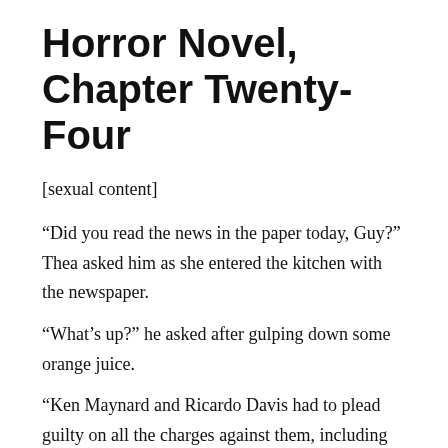Horror Novel, Chapter Twenty-Four
[sexual content]
“Did you read the news in the paper today, Guy?” Thea asked him as she entered the kitchen with the newspaper.
“What’s up?” he asked after gulping down some orange juice.
“Ken Maynard and Ricardo Davis had to plead guilty on all the charges against them, including conspiracy to engage in human trafficking,” she said, then sat down across from him at the kitchen table. “Hey, don’t spill …”